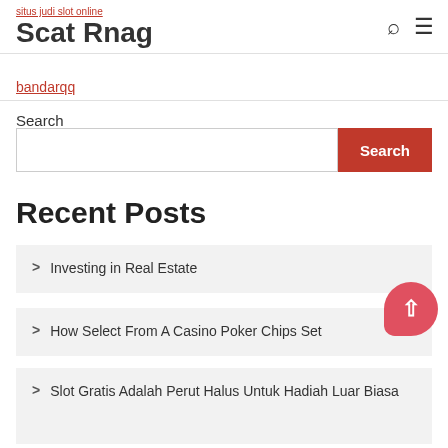situs judi slot online
Scat Rnag
bandarqq
Search
Search [input field] Search [button]
Recent Posts
> Investing in Real Estate
> How Select From A Casino Poker Chips Set
> Slot Gratis Adalah Perut Halus Untuk Hadiah Luar Biasa